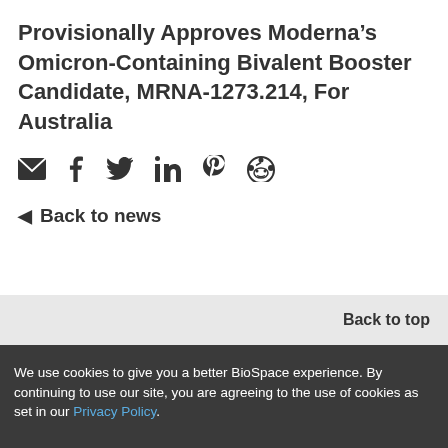Provisionally Approves Moderna's Omicron-Containing Bivalent Booster Candidate, MRNA-1273.214, For Australia
[Figure (infographic): Social sharing icons: email, Facebook, Twitter, LinkedIn, Pinterest, Reddit]
◄ Back to news
Back to top
We use cookies to give you a better BioSpace experience. By continuing to use our site, you are agreeing to the use of cookies as set in our Privacy Policy.
Accept